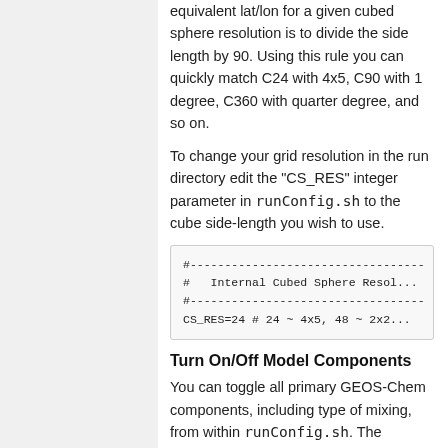equivalent lat/lon for a given cubed sphere resolution is to divide the side length by 90. Using this rule you can quickly match C24 with 4x5, C90 with 1 degree, C360 with quarter degree, and so on.
To change your grid resolution in the run directory edit the "CS_RES" integer parameter in runConfig.sh to the cube side-length you wish to use.
#-----------------------------------
#   Internal Cubed Sphere Resol...
#-----------------------------------
CS_RES=24 # 24 ~ 4x5, 48 ~ 2x2...
Turn On/Off Model Components
You can toggle all primary GEOS-Chem components, including type of mixing, from within runConfig.sh. The